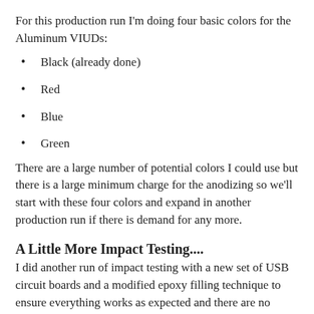For this production run I'm doing four basic colors for the Aluminum VIUDs:
Black (already done)
Red
Blue
Green
There are a large number of potential colors I could use but there is a large minimum charge for the anodizing so we'll start with these four colors and expand in another production run if there is demand for any more.
A Little More Impact Testing....
I did another run of impact testing with a new set of USB circuit boards and a modified epoxy filling technique to ensure everything works as expected and there are no premature failures. Fortunately, the VIUDs fared better than my new stone target which broke clean in half while testing the Titanium VIUD at speeds above 200 km/hr.